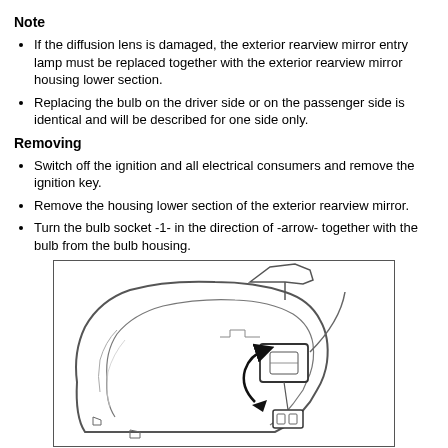Note
If the diffusion lens is damaged, the exterior rearview mirror entry lamp must be replaced together with the exterior rearview mirror housing lower section.
Replacing the bulb on the driver side or on the passenger side is identical and will be described for one side only.
Removing
Switch off the ignition and all electrical consumers and remove the ignition key.
Remove the housing lower section of the exterior rearview mirror.
Turn the bulb socket -1- in the direction of -arrow- together with the bulb from the bulb housing.
[Figure (engineering-diagram): Technical illustration showing the lower section of an exterior rearview mirror housing with the bulb socket and a curved arrow indicating the direction to turn the bulb socket to remove it from the bulb housing.]